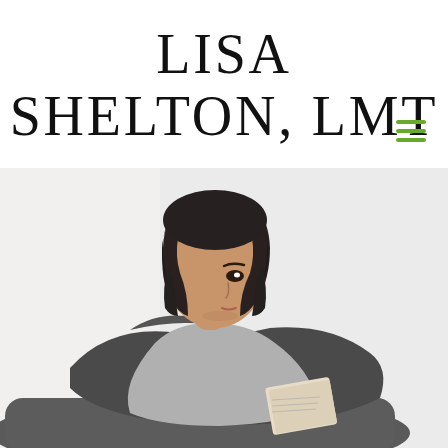LISA SHELTON, LMT
[Figure (photo): A woman with short dark hair wearing a gray t-shirt, sitting and reading a book or magazine, with a dark gray massage cushion/wrap draped over her shoulders. The background is light/white.]